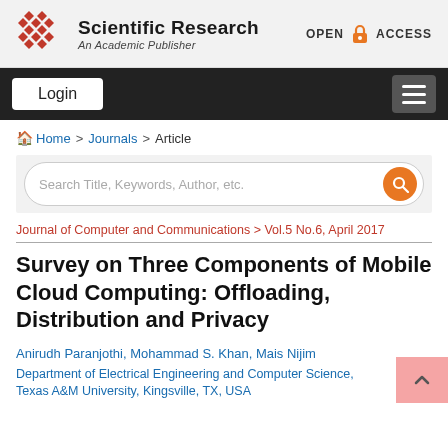Scientific Research — An Academic Publisher | OPEN ACCESS
Login
Home > Journals > Article
Search Title, Keywords, Author, etc.
Journal of Computer and Communications > Vol.5 No.6, April 2017
Survey on Three Components of Mobile Cloud Computing: Offloading, Distribution and Privacy
Anirudh Paranjothi, Mohammad S. Khan, Mais Nijim
Department of Electrical Engineering and Computer Science, Texas A&M University, Kingsville, TX, USA